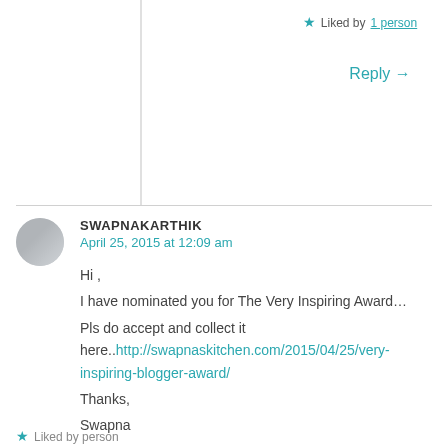★ Liked by 1 person
Reply →
SWAPNAKARTHIK
April 25, 2015 at 12:09 am

Hi ,
I have nominated you for The Very Inspiring Award...
Pls do accept and collect it here..http://swapnaskitchen.com/2015/04/25/very-inspiring-blogger-award/
Thanks,
Swapna
★ Liked by person